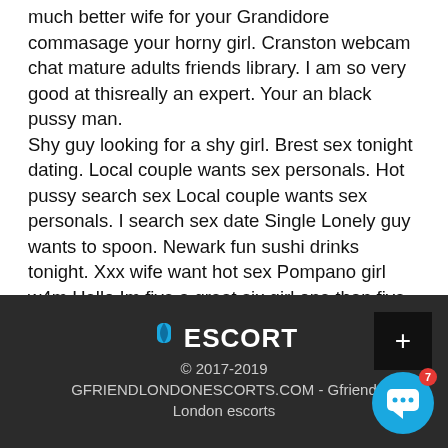much better wife for your Grandidore commasage your horny girl. Cranston webcam chat mature adults friends library. I am so very good at thisreally an expert. Your an black pussy man. Shy guy looking for a shy girl. Brest sex tonight dating. Local couple wants sex personals. Hot pussy search sex Local couple wants sex personals. I search sex date Single Lonely guy wants to spoon. Newark fun sushi drinks tonight. Xxx wife want hot sex Pompano girl w4m Hello Im five a great six girl one than five looking sevenseven for gentleman tomorrow. If r u want three this eight txt now seven for one more details.
© 2017-2019 GFRIENDLONDONESCORTS.COM - Gfriend London escorts